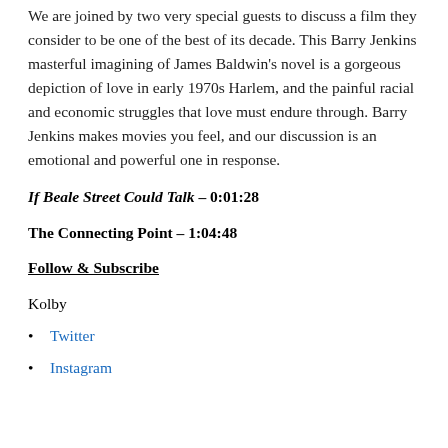We are joined by two very special guests to discuss a film they consider to be one of the best of its decade. This Barry Jenkins masterful imagining of James Baldwin's novel is a gorgeous depiction of love in early 1970s Harlem, and the painful racial and economic struggles that love must endure through. Barry Jenkins makes movies you feel, and our discussion is an emotional and powerful one in response.
If Beale Street Could Talk – 0:01:28
The Connecting Point – 1:04:48
Follow & Subscribe
Kolby
Twitter
Instagram